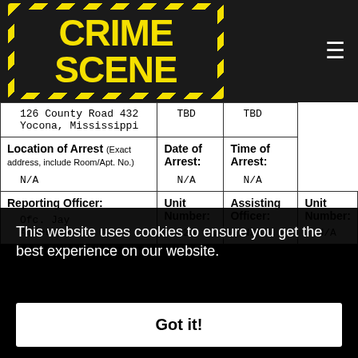[Figure (logo): Crime Scene logo with yellow text on dark background, surrounded by yellow and black hazard stripes]
| 126 County Road 432
Yocona, Mississippi | TBD | TBD |
| Location of Arrest (Exact address, include Room/Apt. No.)
N/A | Date of Arrest:
N/A | Time of Arrest:
N/A |
| Reporting Officer:
Ofc. Jay Anderson | Unit Number:
223 | Assisting Officer:
N/A | Unit Number:
N/A |
This website uses cookies to ensure you get the best experience on our website.
Got it!